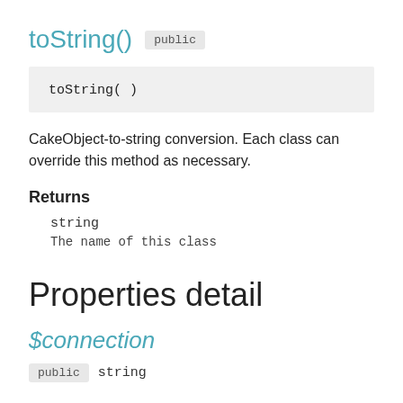toString()  public
toString( )
CakeObject-to-string conversion. Each class can override this method as necessary.
Returns
string
The name of this class
Properties detail
$connection
public  string